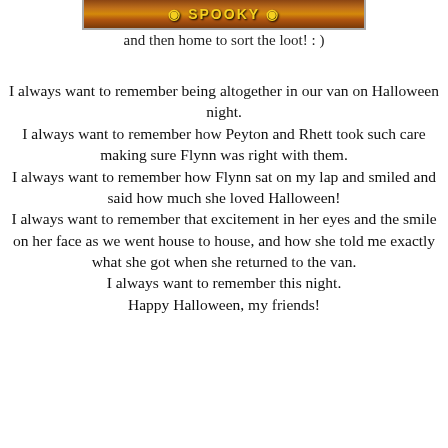[Figure (photo): Partial photo showing Halloween-themed image with text 'SPOOKY' or similar, cropped at top]
and then home to sort the loot! : )
I always want to remember being altogether in our van on Halloween night.
I always want to remember how Peyton and Rhett took such care making sure Flynn was right with them.
I always want to remember how Flynn sat on my lap and smiled and said how much she loved Halloween!
I always want to remember that excitement in her eyes and the smile on her face as we went house to house, and how she told me exactly what she got when she returned to the van.
I always want to remember this night.
Happy Halloween, my friends!